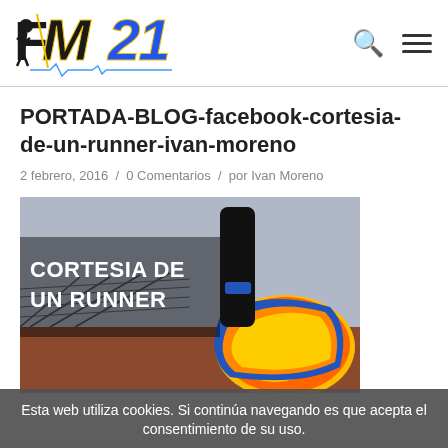FM21 logo, search icon, menu icon
PORTADA-BLOG-facebook-cortesia-de-un-runner-ivan-moreno
2 febrero, 2016 / 0 Comentarios / por Ivan Moreno
[Figure (photo): Photo of a runner's shoe close-up on a track with text overlay 'CORTESIA DE UN RUNNER']
Esta web utiliza cookies. Si continúa navegando es que acepta el consentimiento de su uso.